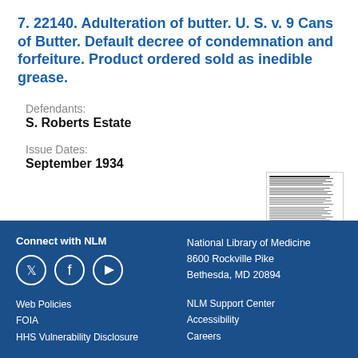7. 22140. Adulteration of butter. U. S. v. 9 Cans of Butter. Default decree of condemnation and forfeiture. Product ordered sold as inedible grease.
Defendants:
S. Roberts Estate
Issue Dates:
September 1934
[Figure (photo): Thumbnail image of a document page with dense text]
Connect with NLM | Twitter | Facebook | YouTube | Web Policies | FOIA | HHS Vulnerability Disclosure | National Library of Medicine 8600 Rockville Pike Bethesda, MD 20894 | NLM Support Center | Accessibility | Careers